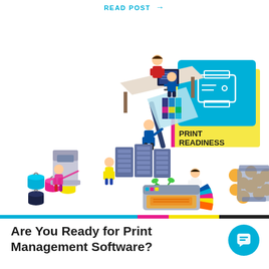READ POST →
[Figure (illustration): Isometric illustration of a print shop environment showing workers at desks with computers, large format printers, server racks, ink buckets in CMYK colors, a person operating a large printer, color swatches, and a 'Print Readiness' badge/card with a printer icon in blue, pink, and yellow colors.]
Are You Ready for Print Management Software?